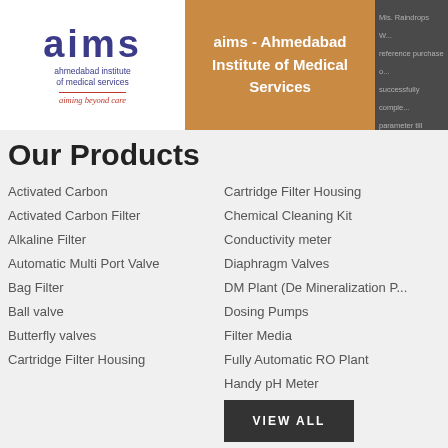[Figure (logo): AIMS - Ahmedabad Institute of Medical Services logo with tagline 'aiming beyond care']
aims - Ahmedabad Institute of Medical Services
Mis. Raindrops W... reference purchase o... successfully comple... parameter till date.... quality of supplied p...
Our Products
Activated Carbon
Activated Carbon Filter
Alkaline Filter
Automatic Multi Port Valve
Bag Filter
Ball valve
Butterfly valves
Cartridge Filter Housing
Cartridge Filter Housing
Chemical Cleaning Kit
Conductivity meter
Diaphragm Valves
DM Plant (De Mineralization P...
Dosing Pumps
Filter Media
Fully Automatic RO Plant
Handy pH Meter
VIEW ALL